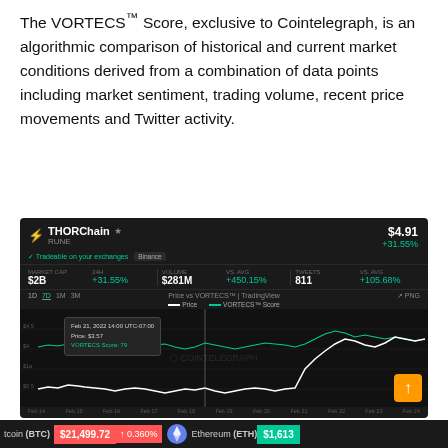The VORTECS™ Score, exclusive to Cointelegraph, is an algorithmic comparison of historical and current market conditions derived from a combination of data points including market sentiment, trading volume, recent price movements and Twitter activity.
[Figure (continuous-plot): THORChain RUNE price vs VORTECS Score chart on dark background. Shows RUNE price $4.91 (+31.55%), market cap $2B, volume $281M (+450.15%), tweets 811 (+105.68%). Chart shows white price line and green VORTECS line over time with tooltip showing Feb 21 2022 data.]
VORTECS™ Score (green) vs. RUNE price. Source: Cointelegraph